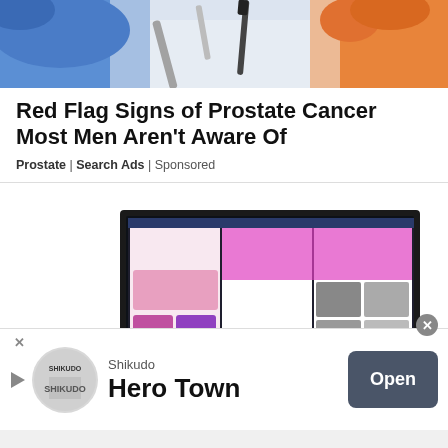[Figure (photo): Close-up photo of medical/lab scene with gloved hands and a swab/instrument, blue and orange gloves visible]
Red Flag Signs of Prostate Cancer Most Men Aren't Aware Of
Prostate | Search Ads | Sponsored
[Figure (photo): Black laptop computer open showing colorful UI/design content on screen, displayed at an angle on white background]
Shikudo
Hero Town
Open